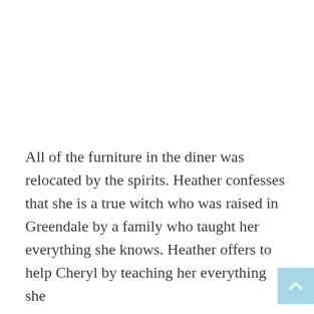All of the furniture in the diner was relocated by the spirits. Heather confesses that she is a true witch who was raised in Greendale by a family who taught her everything she knows. Heather offers to help Cheryl by teaching her everything she